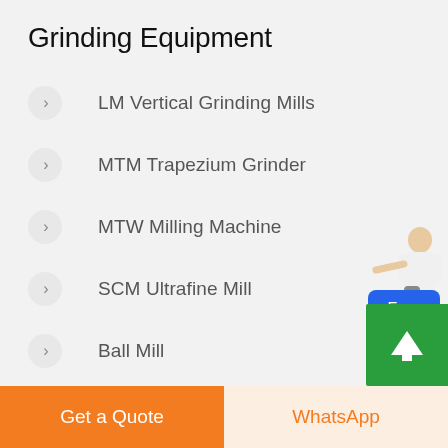Grinding Equipment
LM Vertical Grinding Mills
MTM Trapezium Grinder
MTW Milling Machine
SCM Ultrafine Mill
Ball Mill
T130X Reinforced Ultrafine Mill
[Figure (illustration): Free chat widget with a person figure and a blue button labeled 'Free chat']
[Figure (illustration): Green scroll-to-top button with upward arrow]
Get a Quote
WhatsApp